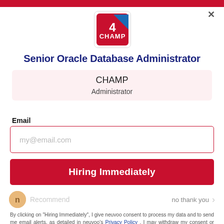[Figure (logo): CHAMP company logo — red square with blue triangle and white CHAMP text]
Senior Oracle Database Administrator
CHAMP
Administrator
Email
my@email.com
Hiring Immediately
no thank you
By clicking on "Hiring Immediately", I give neuvoo consent to process my data and to send me email alerts, as detailed in neuvoo's Privacy Policy . I may withdraw my consent or unsubscribe at any time.